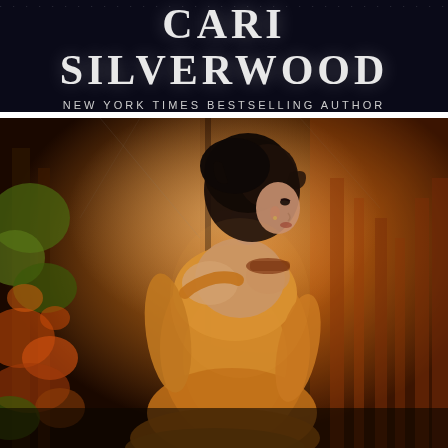CARI SILVERWOOD
NEW YORK TIMES BESTSELLING AUTHOR
[Figure (illustration): Book cover illustration showing a young woman with dark hair in an updo, wearing an off-shoulder gold/amber dress, viewed from behind with her face turned to the right in profile. She has a lace tattoo on her shoulder. The background shows a split scene: on the left, an autumnal outdoor setting with orange and green ivy-covered walls; on the right, a warm orange-lit interior with vertical architectural elements (bookshelves or columns). The overall color palette is warm amber and orange.]